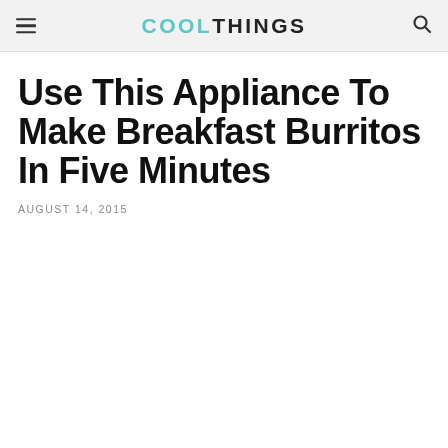COOLTHINGS
Use This Appliance To Make Breakfast Burritos In Five Minutes
AUGUST 14, 2015